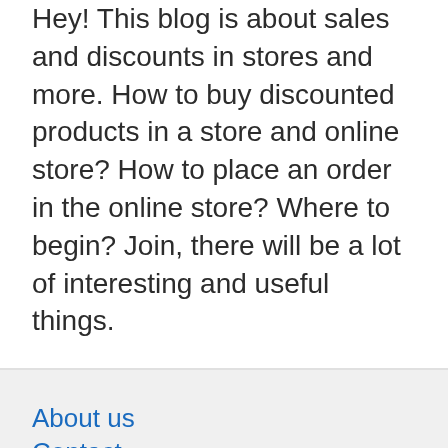Hey! This blog is about sales and discounts in stores and more. How to buy discounted products in a store and online store? How to place an order in the online store? Where to begin? Join, there will be a lot of interesting and useful things.
About us
Contact
Privacy Policy & Cookies
ATTENTION TO RIGHT HOLDERS! All materials are posted on the site strictly for informational and educational purposes! If you believe that the posting of any material